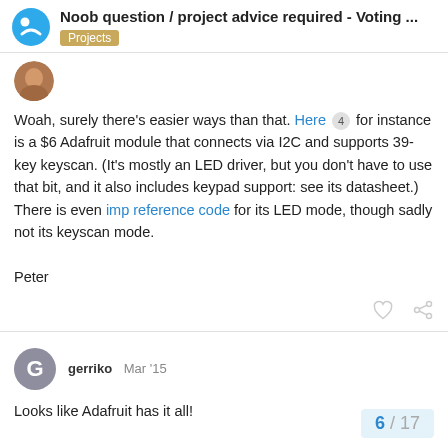Noob question / project advice required - Voting ... Projects
[Figure (photo): User avatar thumbnail (circular photo)]
Woah, surely there's easier ways than that. Here 4 for instance is a $6 Adafruit module that connects via I2C and supports 39-key keyscan. (It's mostly an LED driver, but you don't have to use that bit, and it also includes keypad support: see its datasheet.) There is even imp reference code for its LED mode, though sadly not its keyscan mode.

Peter
[Figure (other): Like and share/link icons]
gerriko  Mar '15
Looks like Adafruit has it all!

Here is a handy breakout board, from Ada the MCP23008 as well as optional pull-ups
6 / 17